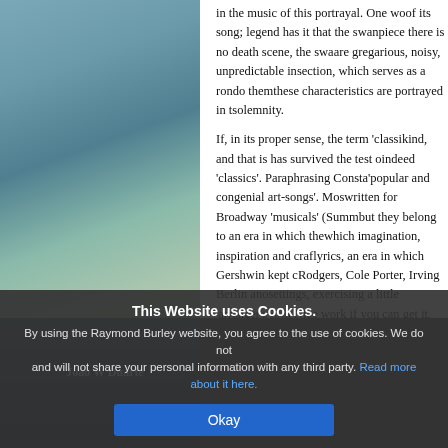[Figure (photo): Painting or textured artwork with blue-green teal and grey tones, occupying the left panel of the page]
in the music of this portrayal. One would... of its song; legend has it that the swan... piece there is no death scene, the swa... are gregarious, noisy, unpredictable in... section, which serves as a rondo them... these characteristics are portrayed in t... solemnity.
If, in its proper sense, the term 'classic... kind, and that is has survived the test o... indeed 'classics'. Paraphrasing Consta... 'popular and congenial art-songs'. Mos... written for Broadway 'musicals' (Summ... but they belong to an era in which the... which imagination, inspiration and craf... lyrics, an era in which Gershwin kept c... Rodgers, Cole Porter, Irving Berlin ano... settings, exercising a little 'arranger's li... (in Nice work if you can get it, Somebo... tunes, not all by Gershwin. Affection a... work, for this was the popular music o...
Joao W Duarte
This Website uses Cookies. By using the Raymond Burley website, you agree to the use of cookies. We do not and will not share your personal information with any third party. Read more about it here.